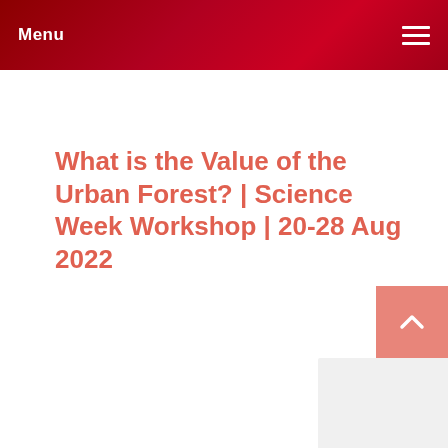Menu
What is the Value of the Urban Forest? | Science Week Workshop | 20-28 Aug 2022